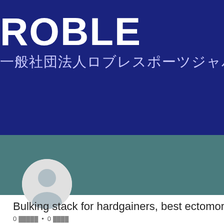[Figure (logo): Dark blue banner with 'ROBLE' in large white bold text and Japanese subtitle text '一般社団法人ロブレスポーツジャパン' below it]
[Figure (photo): Teal/dark cyan background section with a circular default user avatar profile picture (light gray silhouette on white circle)]
Bulking stack for hardgainers, best ectomorph st
0 フォロワー • 0 フォロー中